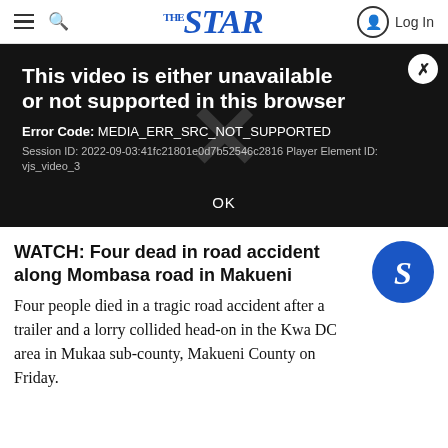THE STAR
[Figure (screenshot): Video player error message on dark background with close button. Title: 'This video is either unavailable or not supported in this browser'. Error Code: MEDIA_ERR_SRC_NOT_SUPPORTED. Session ID: 2022-09-03:41fc21801e0d7b52546c2816 Player Element ID: vjs_video_3. OK button at bottom center.]
WATCH: Four dead in road accident along Mombasa road in Makueni
Four people died in a tragic road accident after a trailer and a lorry collided head-on in the Kwa DC area in Mukaa sub-county, Makueni County on Friday.